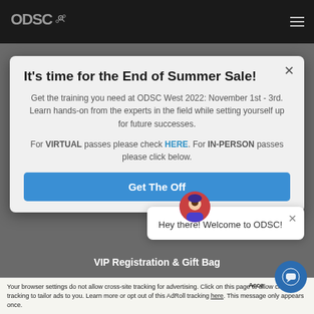ODSC (logo) navigation bar
It's time for the End of Summer Sale!
Get the training you need at ODSC West 2022: November 1st - 3rd. Learn hands-on from the experts in the field while setting yourself up for future successes.
For VIRTUAL passes please check HERE. For IN-PERSON passes please click below.
Get The Off[er]
Hey there! Welcome to ODSC!
VIP Registration & Gift Bag
Your browser settings do not allow cross-site tracking for advertising. Click on this page to allow cross-site tracking to tailor ads to you. Learn more or opt out of this AdRoll tracking here. This message only appears once.